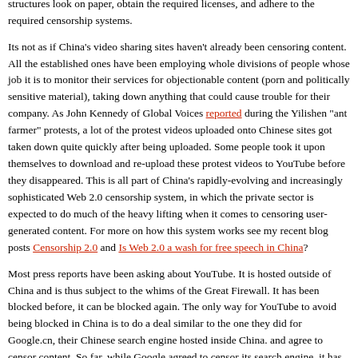creative work-arounds. I would imagine that the larger companies with foreign investment and established brand names will still be able to operate as long as they make adjustments to the way in which their ownership and investment structures look on paper, obtain the required licenses, and adhere to the required censorship systems.
Its not as if China's video sharing sites haven't already been censoring content. All the established ones have been employing whole divisions of people whose job it is to monitor their services for objectionable content (porn and politically sensitive material), taking down anything that could cause trouble for their company. As John Kennedy of Global Voices reported during the Yilishen "ant farmer" protests, a lot of the protest videos uploaded onto Chinese sites got taken down quite quickly after being uploaded. Some people took it upon themselves to download and re-upload these protest videos to YouTube before they disappeared. This is all part of China's rapidly-evolving and increasingly sophisticated Web 2.0 censorship system, in which the private sector is expected to do much of the heavy lifting when it comes to censoring user-generated content. For more on how this system works see my recent blog posts Censorship 2.0 and Is Web 2.0 a wash for free speech in China?
Most press reports have been asking about YouTube. It is hosted outside of China and is thus subject to the whims of the Great Firewall. It has been blocked before, it can be blocked again. The only way for YouTube to avoid being blocked in China is to do a deal similar to the one they did for Google.cn, their Chinese search engine hosted inside China. and agree to censor content. So far, while Google agreed to censor its search engine, it has drawn the line at user-generated content and opted not to create a censored version of Blogspot.com, which tends to be blocked in China. If they plan to be consistent, they would refuse to censor YouTube as well... and just put up with being blocked. It will be interesting to see how they decide to proceed.